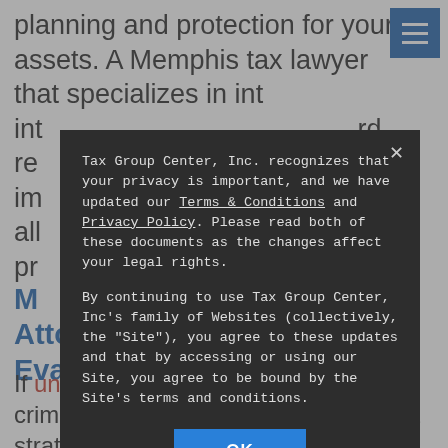planning and protection for your assets. A Memphis tax lawyer that specializes in international tax law can assess your international tax situation and recommend the right strategies to minimize your tax liabilities and protect your assets with all tax planning and protection for your property.
[Figure (other): Navigation hamburger menu icon — three white horizontal lines on blue background]
Memphis Tax Attorneys Handling Tax Evasion Charges
If unfiled returns have resulted in criminal charges, it's time to work on a strategy with help from a tax lawyer in Memphis. Charges must be based on the
Tax Group Center, Inc. recognizes that your privacy is important, and we have updated our Terms & Conditions and Privacy Policy. Please read both of these documents as the changes affect your legal rights.

By continuing to use Tax Group Center, Inc's family of Websites (collectively, the "Site"), you agree to these updates and that by accessing or using our Site, you agree to be bound by the Site's terms and conditions.